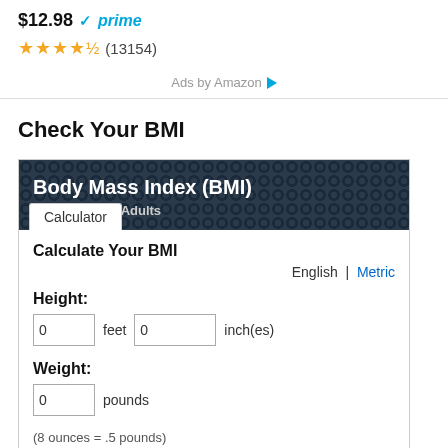$12.98 ✓prime
★★★★½ (13154)
Ads by Amazon ▷
Check Your BMI
[Figure (screenshot): BMI Calculator widget with dark header showing 'Body Mass Index (BMI) Calculator for Adults', a 'Calculator' tab, fields for Height (feet and inches) and Weight (pounds), with English/Metric toggle.]